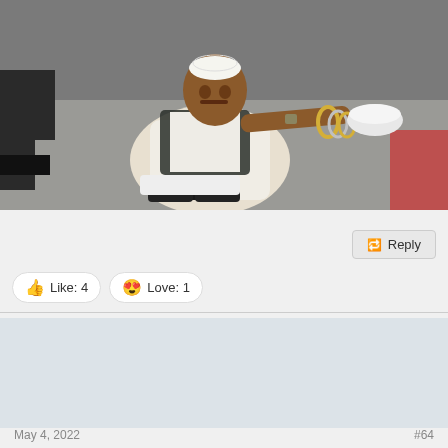[Figure (photo): A man sitting on the ground wearing white traditional clothing and a white cap, reaching out with one arm holding a bowl, with bangles on his wrist. The scene appears to be in a public indoor space.]
Reply
Like: 4
Love: 1
Beast
ELITE MEMBER
May 4, 2022
#64